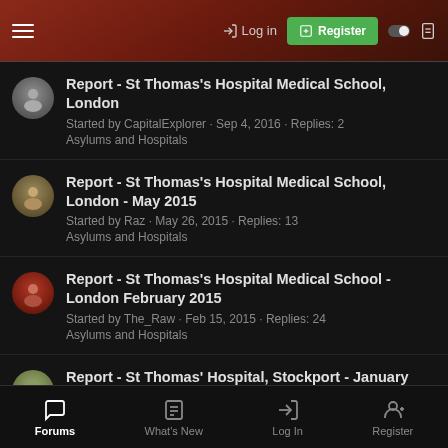Log in | Register
Report - St Thomas's Hospital Medical School, London
Started by CapitalExplorer · Sep 4, 2016 · Replies: 2
Asylums and Hospitals
Report - St Thomas's Hospital Medical School, London - May 2015
Started by Raz · May 26, 2015 · Replies: 13
Asylums and Hospitals
Report - St Thomas's Hospital Medical School - London February 2015
Started by The_Raw · Feb 15, 2015 · Replies: 24
Asylums and Hospitals
Report - St Thomas' Hospital, Stockport - January 2015
Started by GRONK · Jan 1, 2015 · Replies: 13
Asylums and Hospitals
Forums | What's New | Log In | Register